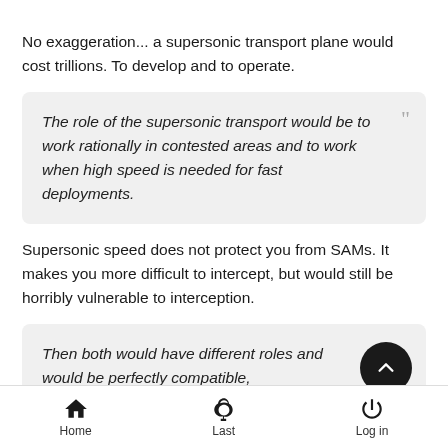No exaggeration... a supersonic transport plane would cost trillions. To develop and to operate.
The role of the supersonic transport would be to work rationally in contested areas and to work when high speed is needed for fast deployments.
Supersonic speed does not protect you from SAMs. It makes you more difficult to intercept, but would still be horribly vulnerable to interception.
Then both would have different roles and would be perfectly compatible,
Home   Last   Log in